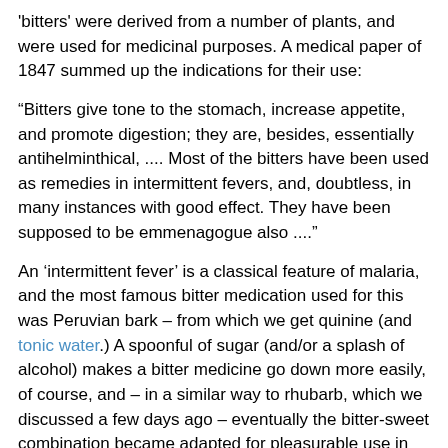'bitters' were derived from a number of plants, and were used for medicinal purposes. A medical paper of 1847 summed up the indications for their use:
“Bitters give tone to the stomach, increase appetite, and promote digestion; they are, besides, essentially antihelminthical, .... Most of the bitters have been used as remedies in intermittent fevers, and, doubtless, in many instances with good effect. They have been supposed to be emmenagogue also ....”
An ‘intermittent fever’ is a classical feature of malaria, and the most famous bitter medication used for this was Peruvian bark – from which we get quinine (and tonic water.) A spoonful of sugar (and/or a splash of alcohol) makes a bitter medicine go down more easily, of course, and – in a similar way to rhubarb, which we discussed a few days ago – eventually the bitter-sweet combination became adapted for pleasurable use in beverages and made dishes.
The most famous brand of bitters is Angostura, named for